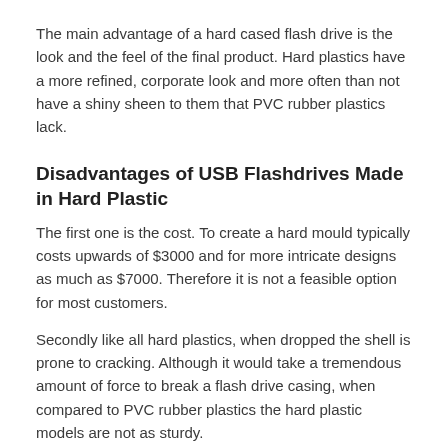The main advantage of a hard cased flash drive is the look and the feel of the final product. Hard plastics have a more refined, corporate look and more often than not have a shiny sheen to them that PVC rubber plastics lack.
Disadvantages of USB Flashdrives Made in Hard Plastic
The first one is the cost. To create a hard mould typically costs upwards of $3000 and for more intricate designs as much as $7000. Therefore it is not a feasible option for most customers.
Secondly like all hard plastics, when dropped the shell is prone to cracking. Although it would take a tremendous amount of force to break a flash drive casing, when compared to PVC rubber plastics the hard plastic models are not as sturdy.
Is Custom Made USB Flashdrives in Hard Plastic for You?
USBs with hard plastic casings are not particularly popular with our